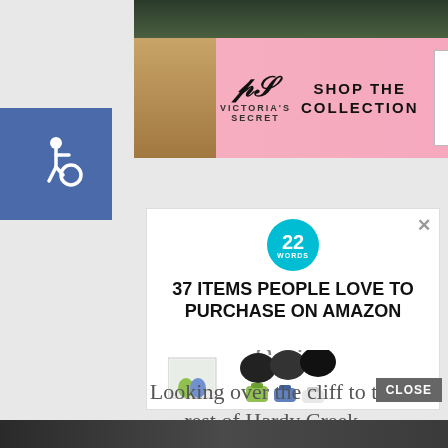[Figure (photo): Top partial image strip - dark background photo]
[Figure (photo): Victoria's Secret advertisement banner with model photo, VS logo, SHOP THE COLLECTION text, and SHOP NOW button]
[Figure (infographic): Advertisement card: '22 WORDS' badge, headline '37 ITEMS PEOPLE LOVE TO PURCHASE ON AMAZON', product image of retractable badge holders with silicone travel bottles]
Looking over the cliff to the rest of Hardy Creek.
[Figure (photo): Accessibility icon - wheelchair symbol on blue background]
[Figure (photo): Bottom partial image strip]